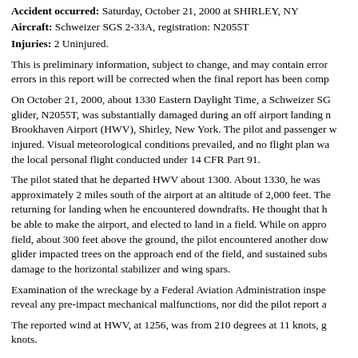Accident occurred: Saturday, October 21, 2000 at SHIRLEY, NY
Aircraft: Schweizer SGS 2-33A, registration: N2055T
Injuries: 2 Uninjured.
This is preliminary information, subject to change, and may contain errors in this report will be corrected when the final report has been comp...
On October 21, 2000, about 1330 Eastern Daylight Time, a Schweizer SGS glider, N2055T, was substantially damaged during an off airport landing near Brookhaven Airport (HWV), Shirley, New York. The pilot and passenger were injured. Visual meteorological conditions prevailed, and no flight plan was filed for the local personal flight conducted under 14 CFR Part 91.
The pilot stated that he departed HWV about 1300. About 1330, he was approximately 2 miles south of the airport at an altitude of 2,000 feet. The pilot was returning for landing when he encountered downdrafts. He thought that he would not be able to make the airport, and elected to land in a field. While on approach to the field, about 300 feet above the ground, the pilot encountered another downdraft. The glider impacted trees on the approach end of the field, and sustained substantial damage to the horizontal stabilizer and wing spars.
Examination of the wreckage by a Federal Aviation Administration inspector did not reveal any pre-impact mechanical malfunctions, nor did the pilot report any.
The reported wind at HWV, at 1256, was from 210 degrees at 11 knots, gusting to 16 knots.
NTSB Identification: CHI01LA007
Accident occurred: Wednesday, October 11, 2000 at HIGHLAND, IL
Aircraft: Schweizer SGS 2-33A, registration: N2060T
Injuries: 2 Uninjured.